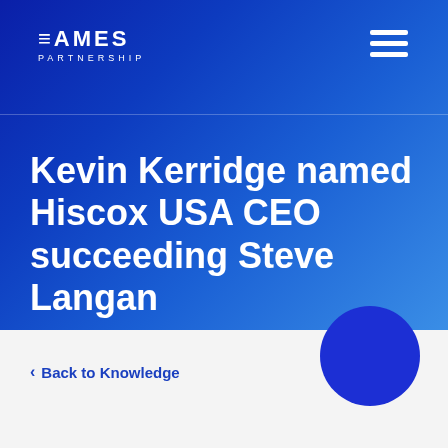EAMES PARTNERSHIP
Kevin Kerridge named Hiscox USA CEO succeeding Steve Langan
< Back to Knowledge